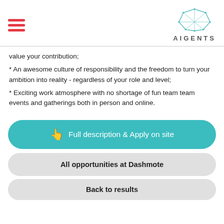AIGENTS
value your contribution;
* An awesome culture of responsibility and the freedom to turn your ambition into reality - regardless of your role and level;
* Exciting work atmosphere with no shortage of fun team team events and gatherings both in person and online.
Full description & Apply on site
All opportunities at Dashmote
Back to results